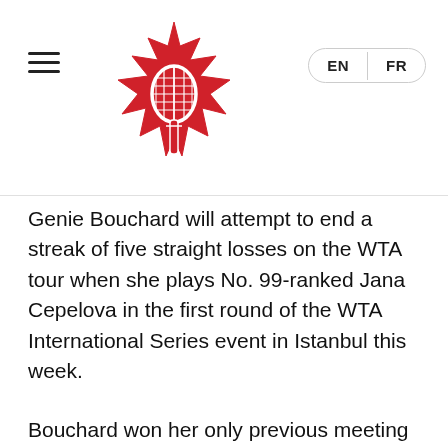Tennis Canada — EN / FR navigation header with maple leaf logo
Genie Bouchard will attempt to end a streak of five straight losses on the WTA tour when she plays No. 99-ranked Jana Cepelova in the first round of the WTA International Series event in Istanbul this week.
Bouchard won her only previous meeting with the 23-year-old Slovak 7-6(6), 6-3 during a 2014 Canada – Slovakia Fed Cup tie in Quebec City.
Cepelova will be travelling to Istanbul after playing a Fed Cup World Group play-off tie against the Netherlands (1-1 in singles) at home